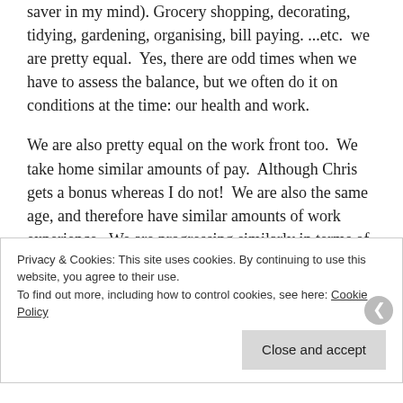needed to financially cut back somewhere, it's a marriage saver in my mind). Grocery shopping, decorating, tidying, gardening, organising, bill paying. ...etc.  we are pretty equal.  Yes, there are odd times when we have to assess the balance, but we often do it on conditions at the time: our health and work.
We are also pretty equal on the work front too.  We take home similar amounts of pay.  Although Chris gets a bonus whereas I do not!  We are also the same age, and therefore have similar amounts of work experience.  We are progressing similarly in terms of accountability and responsibility, although we do very different jobs, and therefore different types of stresses, but our workloads ebb
Privacy & Cookies: This site uses cookies. By continuing to use this website, you agree to their use.
To find out more, including how to control cookies, see here: Cookie Policy
Close and accept